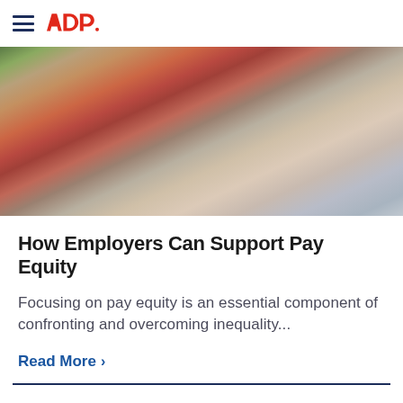ADP
[Figure (photo): Three people walking together outdoors, smiling. One person in center wearing a red blazer, flanked by two others in light-colored clothing.]
How Employers Can Support Pay Equity
Focusing on pay equity is an essential component of confronting and overcoming inequality...
Read More >